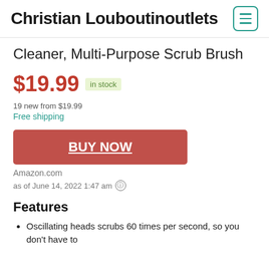Christian Louboutinoutlets
Cleaner, Multi-Purpose Scrub Brush
$19.99  in stock
19 new from $19.99
Free shipping
BUY NOW
Amazon.com
as of June 14, 2022 1:47 am
Features
Oscillating heads scrubs 60 times per second, so you don't have to